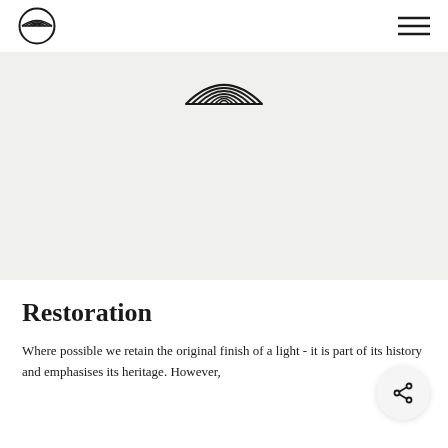Logo and navigation header
[Figure (logo): Brand logo — concentric semicircle eye/sun symbol in black outline, centered in hero area on a light grey background]
Restoration
Where possible we retain the original finish of a light - it is part of its history and emphasises its heritage. However,